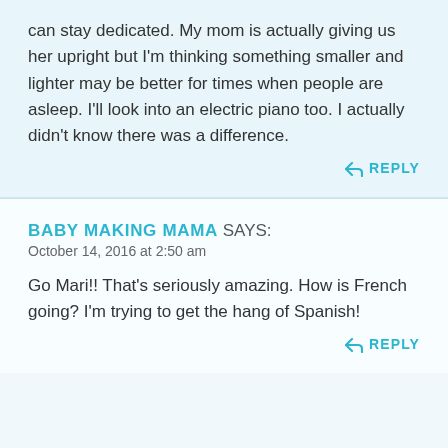can stay dedicated. My mom is actually giving us her upright but I'm thinking something smaller and lighter may be better for times when people are asleep. I'll look into an electric piano too. I actually didn't know there was a difference.
↩ REPLY
BABY MAKING MAMA SAYS:
October 14, 2016 at 2:50 am
Go Mari!! That's seriously amazing. How is French going? I'm trying to get the hang of Spanish!
↩ REPLY